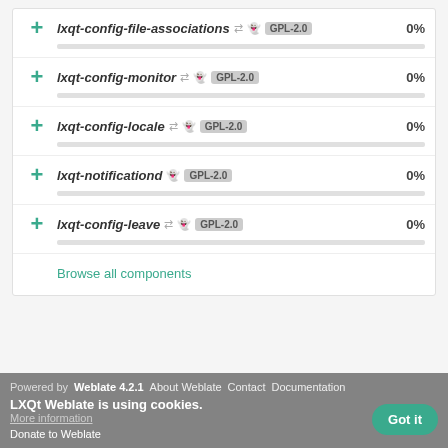lxqt-config-file-associations GPL-2.0 0%
lxqt-config-monitor GPL-2.0 0%
lxqt-config-locale GPL-2.0 0%
lxqt-notificationd GPL-2.0 0%
lxqt-config-leave GPL-2.0 0%
Browse all components
Powered by Weblate 4.2.1  About Weblate  Contact  Documentation  Donate to Weblate  LXQt Weblate is using cookies.  More information  Got it